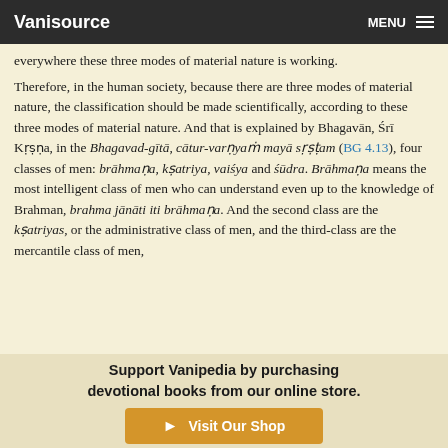Vanisource | MENU
everywhere these three modes of material nature is working.
Therefore, in the human society, because there are three modes of material nature, the classification should be made scientifically, according to these three modes of material nature. And that is explained by Bhagavān, Śrī Kṛṣṇa, in the Bhagavad-gītā, cātur-varṇyaṁ mayā sṛṣṭam (BG 4.13), four classes of men: brāhmaṇa, kṣatriya, vaiśya and śūdra. Brāhmaṇa means the most intelligent class of men who can understand even up to the knowledge of Brahman, brahma jānāti iti brāhmaṇa. And the second class are the kṣatriyas, or the administrative class of men, and the third-class are the mercantile class of men,
Support Vanipedia by purchasing devotional books from our online store.
Visit Our Shop